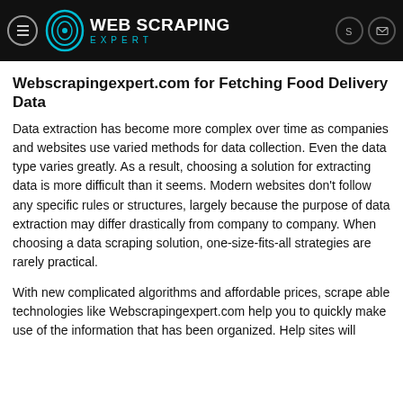WEB SCRAPING EXPERT
Webscrapingexpert.com for Fetching Food Delivery Data
Data extraction has become more complex over time as companies and websites use varied methods for data collection. Even the data type varies greatly. As a result, choosing a solution for extracting data is more difficult than it seems. Modern websites don't follow any specific rules or structures, largely because the purpose of data extraction may differ drastically from company to company. When choosing a data scraping solution, one-size-fits-all strategies are rarely practical.
With new complicated algorithms and affordable prices, scrape able technologies like Webscrapingexpert.com help you to quickly make use of the information that has been organized. Help sites will